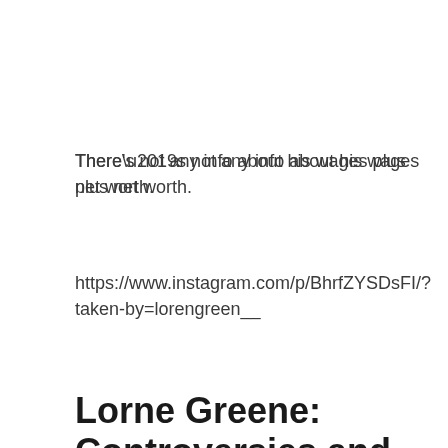There’s not any info about his wages plus net worth.
https://www.instagram.com/p/BhrfZYSDsFI/?taken-by=lorengreen__
Lorne Greene: Controversies and Rumors
The rumor continues that he had a nipple bitten off by an alligator if Greene was filming among those character reveals he hosted. He refused to confirm whether this event really occurred, and then he even took the key with him on the